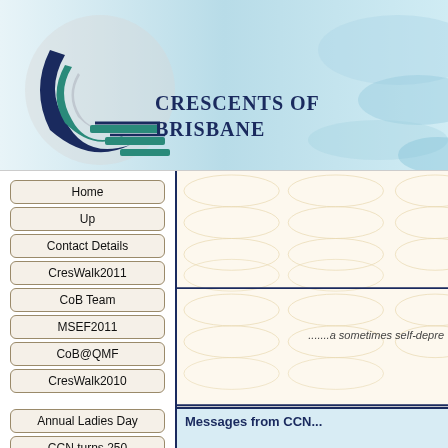[Figure (logo): Crescents of Brisbane logo with circular crescent design in navy and teal, with text 'Crescents of Brisbane' in navy uppercase serif font against a light blue gradient banner background]
Home
Up
Contact Details
CresWalk2011
CoB Team
MSEF2011
CoB@QMF
CresWalk2010
Annual Ladies Day
CCN turns 250
CresWalk2009
.......a sometimes self-depre
Messages from CCN...